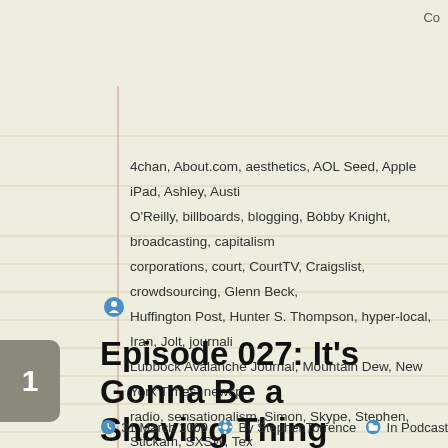Co…
4chan, About.com, aesthetics, AOL Seed, Apple iPad, Ashley, Austi… O'Reilly, billboards, blogging, Bobby Knight, broadcasting, capitalism… corporations, court, CourtTV, Craigslist, crowdsourcing, Glenn Beck,… Huffington Post, Hunter S. Thompson, hyper-local, Iran, Jolt, journalis… Lubbock Avalanche Journal, Mountain Dew, New York Times, newsp… radio, sensationalism, Simon, Skype, Stephen, Stickam, SXSW, Texa… University, theatre, Timothy Cole, Twitter, Wikipedia
Episode 027: It's Gonna Be a Shaving Thing
31 March 2009   By StephenTorrence   In Podcast